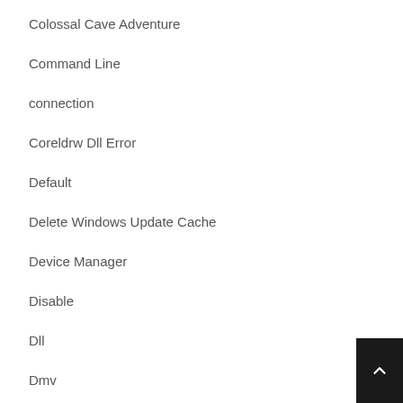Colossal Cave Adventure
Command Line
connection
Coreldrw Dll Error
Default
Delete Windows Update Cache
Device Manager
Disable
Dll
Dmv
Error